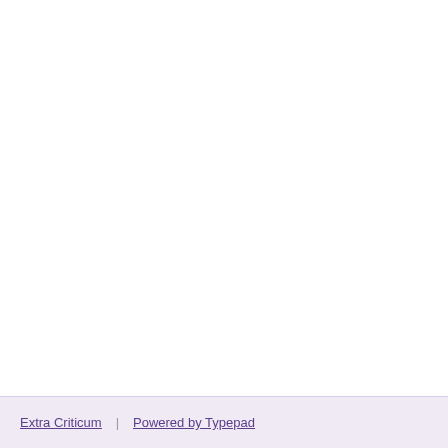Extra Criticum | Powered by Typepad